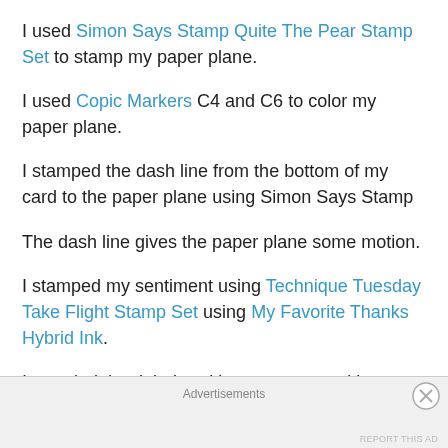I used Simon Says Stamp Quite The Pear Stamp Set to stamp my paper plane.
I used Copic Markers C4 and C6 to color my paper plane.
I stamped the dash line from the bottom of my card to the paper plane using Simon Says Stamp
The dash line gives the paper plane some motion.
I stamped my sentiment using Technique Tuesday Take Flight Stamp Set using My Favorite Thanks Hybrid Ink.
I rounded the right hand bottom corner with my We R Memories Corner Chomper.
Advertisements